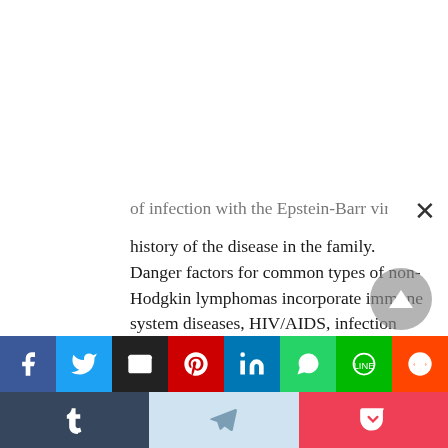of infection with the Epstein-Barr virus and the history of the disease in the family. Danger factors for common types of non-Hodgkin lymphomas incorporate immune system diseases, HIV/AIDS, infection with human T-lymphotropic virus, excessive meat and fat consumption, immunosuppressant medications, and a few pesticides.
8. Enlarged lymph nodes are diagnosed using a lymph node biopsy. Patients additionally go